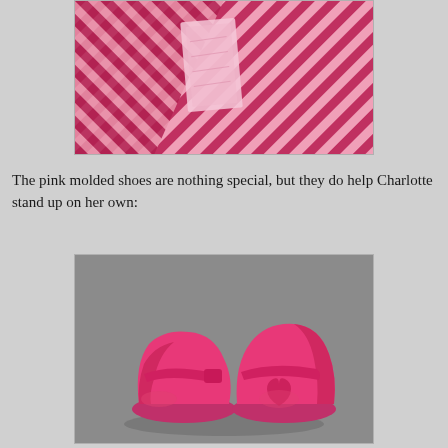[Figure (photo): Close-up photo of pink and dark red/magenta striped fabric with a lighter pink rectangular patch or label showing through, fabric appears to be knit or woven textile.]
The pink molded shoes are nothing special, but they do help Charlotte stand up on her own:
[Figure (photo): Photo of a pair of bright pink molded plastic Mary Jane style doll shoes with a strap across the top, placed on a gray surface.]